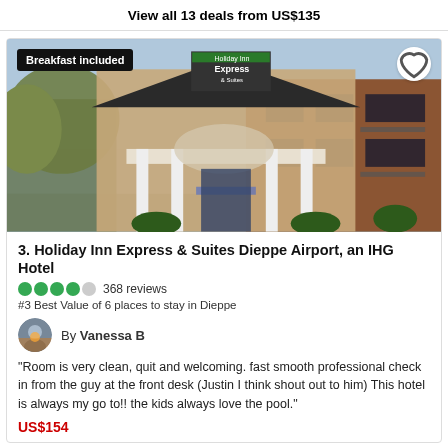View all 13 deals from US$135
[Figure (photo): Exterior photo of Holiday Inn Express & Suites Dieppe Airport hotel building with green signage, white pillared entrance canopy, and brick facade. Has 'Breakfast included' badge top-left and a heart/favorite button top-right.]
3. Holiday Inn Express & Suites Dieppe Airport, an IHG Hotel
368 reviews
#3 Best Value of 6 places to stay in Dieppe
By Vanessa B
"Room is very clean, quit and welcoming. fast smooth professional check in from the guy at the front desk (Justin I think shout out to him) This hotel is always my go to!! the kids always love the pool."
US$154